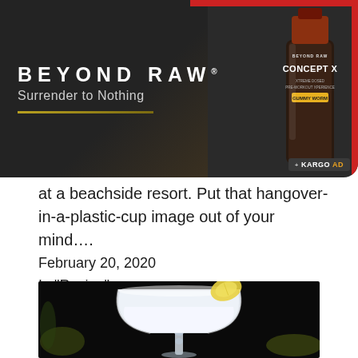[Figure (photo): Advertisement banner for Beyond Raw Concept X pre-workout supplement. Dark background with 'BEYOND RAW' and 'Surrender to Nothing' text on left, product bottle on right, red accent border, Kargo Ad badge.]
at a beachside resort. Put that hangover-in-a-plastic-cup image out of your mind….
February 20, 2020
In "Recipe"
[Figure (photo): Close-up photo of a white/frosted cocktail in a martini-style coupe glass with a lemon wedge garnish, on a dark black background with blurred bananas visible in background.]